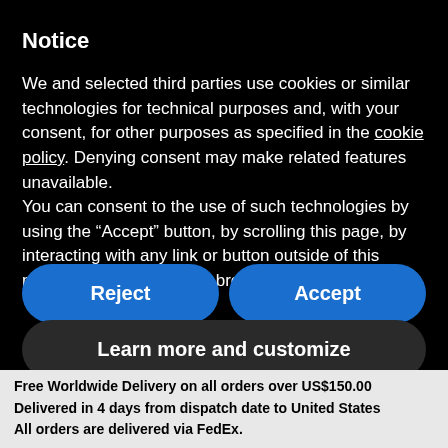Notice
We and selected third parties use cookies or similar technologies for technical purposes and, with your consent, for other purposes as specified in the cookie policy. Denying consent may make related features unavailable.
You can consent to the use of such technologies by using the “Accept” button, by scrolling this page, by interacting with any link or button outside of this notice or by continuing to browse otherwise.
Reject
Accept
Learn more and customize
Free Worldwide Delivery on all orders over US$150.00
Delivered in 4 days from dispatch date to United States
All orders are delivered via FedEx.